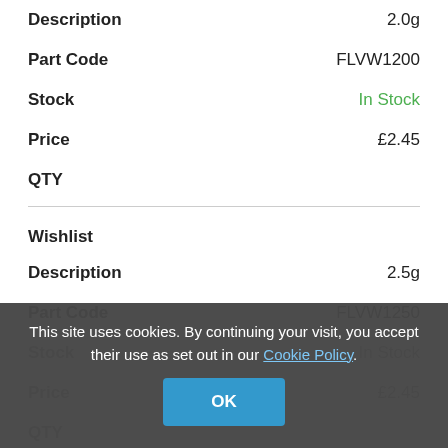| Field | Value |
| --- | --- |
| Description | 2.0g |
| Part Code | FLVW1200 |
| Stock | In Stock |
| Price | £2.45 |
| QTY |  |
| Field | Value |
| --- | --- |
| Wishlist |  |
| Description | 2.5g |
| Part Code | FLVW1250 |
| Stock | In Stock |
| Price | £2.45 |
| QTY |  |
This site uses cookies. By continuing your visit, you accept their use as set out in our Cookie Policy.